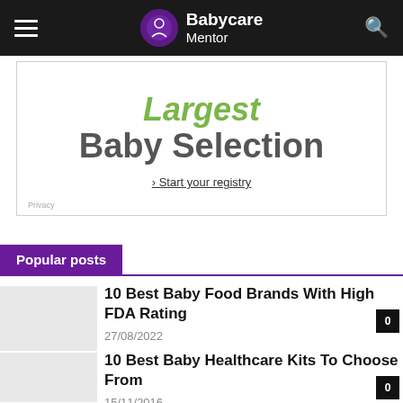Babycare Mentor
[Figure (other): Advertisement banner: 'Largest Baby Selection · Start your registry']
Popular posts
10 Best Baby Food Brands With High FDA Rating
27/08/2022
10 Best Baby Healthcare Kits To Choose From
15/11/2016